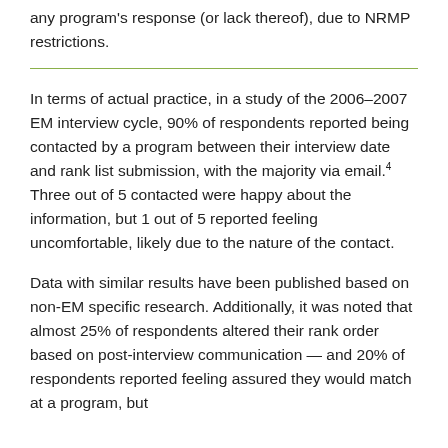any program's response (or lack thereof), due to NRMP restrictions.
In terms of actual practice, in a study of the 2006–2007 EM interview cycle, 90% of respondents reported being contacted by a program between their interview date and rank list submission, with the majority via email.4 Three out of 5 contacted were happy about the information, but 1 out of 5 reported feeling uncomfortable, likely due to the nature of the contact.
Data with similar results have been published based on non-EM specific research. Additionally, it was noted that almost 25% of respondents altered their rank order based on post-interview communication — and 20% of respondents reported feeling assured they would match at a program, but